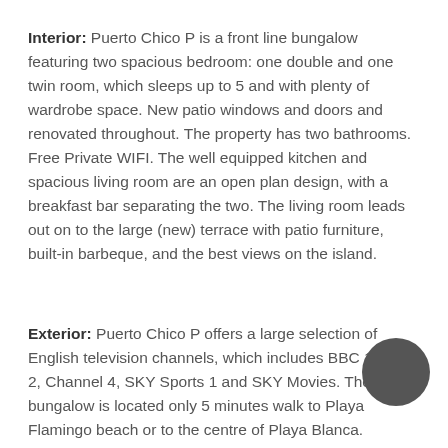Interior: Puerto Chico P is a front line bungalow featuring two spacious bedroom: one double and one twin room, which sleeps up to 5 and with plenty of wardrobe space. New patio windows and doors and renovated throughout. The property has two bathrooms. Free Private WIFI. The well equipped kitchen and spacious living room are an open plan design, with a breakfast bar separating the two. The living room leads out on to the large (new) terrace with patio furniture, built-in barbeque, and the best views on the island.
Exterior: Puerto Chico P offers a large selection of English television channels, which includes BBC 1, BBC 2, Channel 4, SKY Sports 1 and SKY Movies. The bungalow is located only 5 minutes walk to Playa Flamingo beach or to the centre of Playa Blanca.